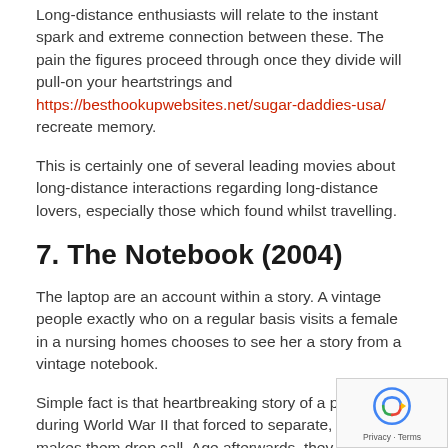Long-distance enthusiasts will relate to the instant spark and extreme connection between these. The pain the figures proceed through once they divide will pull-on your heartstrings and https://besthookupwebsites.net/sugar-daddies-usa/ recreate memory.
This is certainly one of several leading movies about long-distance interactions regarding long-distance lovers, especially those which found whilst travelling.
7. The Notebook (2004)
The laptop are an account within a story. A vintage people exactly who on a regular basis visits a female in a nursing homes chooses to see her a story from a vintage notebook.
Simple fact is that heartbreaking story of a partners during World War II that forced to separate, which makes them drop call. Age afterwards, they reunite, however their schedules has managed to move on.